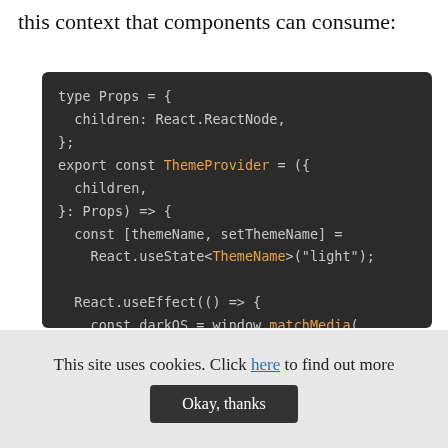this context that components can consume:
[Figure (screenshot): Dark-themed code block showing TypeScript/React code defining a ThemeProvider component with useState and useEffect hooks]
This site uses cookies. Click here to find out more
Okay, thanks